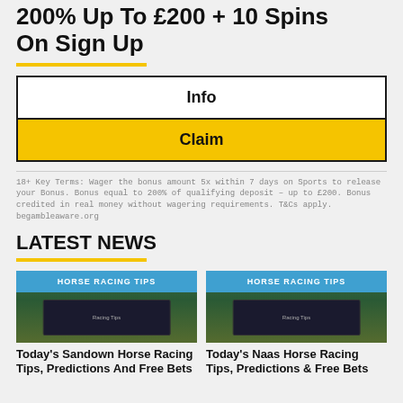200% Up To £200 + 10 Spins On Sign Up
Info
Claim
18+ Key Terms: Wager the bonus amount 5x within 7 days on Sports to release your Bonus. Bonus equal to 200% of qualifying deposit – up to £200. Bonus credited in real money without wagering requirements. T&Cs apply. begambleaware.org
LATEST NEWS
[Figure (photo): Horse racing tips thumbnail with blue badge reading HORSE RACING TIPS]
Today's Sandown Horse Racing Tips, Predictions And Free Bets
[Figure (photo): Horse racing tips thumbnail with blue badge reading HORSE RACING TIPS]
Today's Naas Horse Racing Tips, Predictions & Free Bets